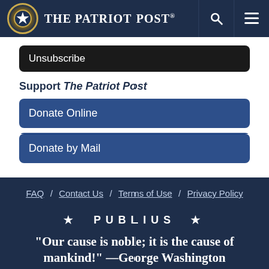The Patriot Post
Unsubscribe
Support The Patriot Post
Donate Online
Donate by Mail
FAQ / Contact Us / Terms of Use / Privacy Policy
★ PUBLIUS ★
“Our cause is noble; it is the cause of mankind!” —George Washington
The Patriot Post is protected speech, as enumerated in the First Amendment and enforced by the Second Amendment of the Constitution of the United